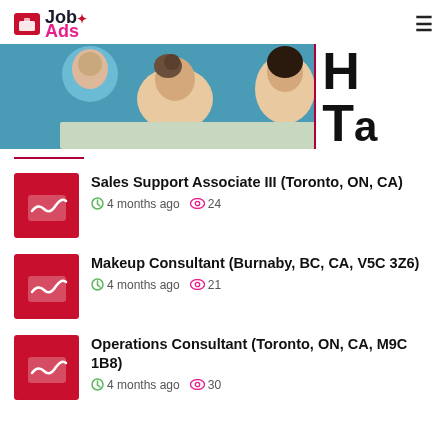Job Ads
[Figure (photo): Banner photo of people looking down, with partial text 'H' and 'Ta' visible on the right side]
Sales Support Associate III (Toronto, ON, CA) — 4 months ago, 24 views
Makeup Consultant (Burnaby, BC, CA, V5C 3Z6) — 4 months ago, 21 views
Operations Consultant (Toronto, ON, CA, M9C 1B8) — 4 months ago, 30 views